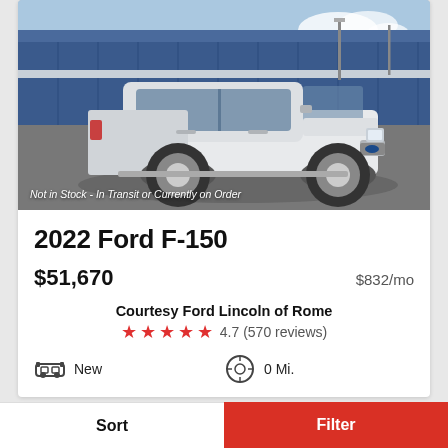[Figure (photo): White 2022 Ford F-150 pickup truck parked in front of a blue industrial building/dealership]
Not in Stock - In Transit or Currently on Order
2022 Ford F-150
$51,670    $832/mo
Courtesy Ford Lincoln of Rome
4.7 (570 reviews)
New    0 Mi.
Sort    Filter